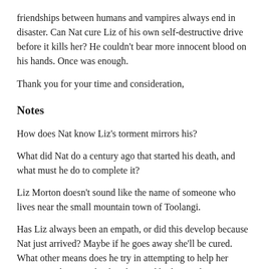friendships between humans and vampires always end in disaster. Can Nat cure Liz of his own self-destructive drive before it kills her? He couldn't bear more innocent blood on his hands. Once was enough.
Thank you for your time and consideration,
Notes
How does Nat know Liz's torment mirrors his?
What did Nat do a century ago that started his death, and what must he do to complete it?
Liz Morton doesn't sound like the name of someone who lives near the small mountain town of Toolangi.
Has Liz always been an empath, or did this develop because Nat just arrived? Maybe if he goes away she'll be cured. What other means does he try in attempting to help her overcome the empathic bond caused by her sixth sense?